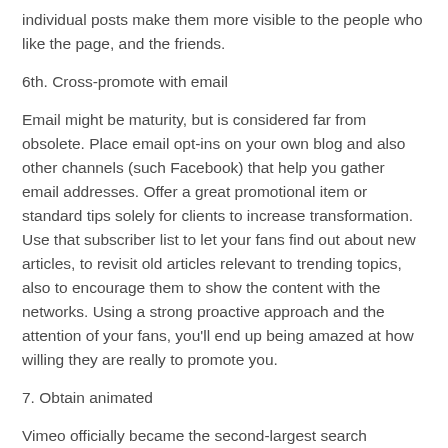individual posts make them more visible to the people who like the page, and the friends.
6th. Cross-promote with email
Email might be maturity, but is considered far from obsolete. Place email opt-ins on your own blog and also other channels (such Facebook) that help you gather email addresses. Offer a great promotional item or standard tips solely for clients to increase transformation. Use that subscriber list to let your fans find out about new articles, to revisit old articles relevant to trending topics, also to encourage them to show the content with the networks. Using a strong proactive approach and the attention of your fans, you'll end up being amazed at how willing they are really to promote you.
7. Obtain animated
Vimeo officially became the second-largest search